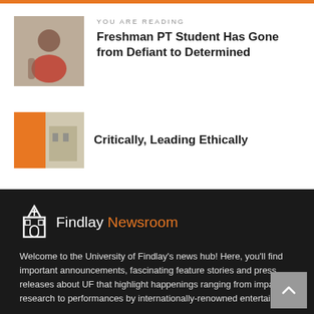YOU ARE READING
Freshman PT Student Has Gone from Defiant to Determined
Critically, Leading Ethically
[Figure (logo): Findlay Newsroom logo with building icon]
Welcome to the University of Findlay's news hub! Here, you'll find important announcements, fascinating feature stories and press releases about UF that highlight happenings ranging from impactful research to performances by internationally-renowned entertainers.
If you have a great story you think we should share, contact Assistant Director of Marketing & Communication Amy DePuy